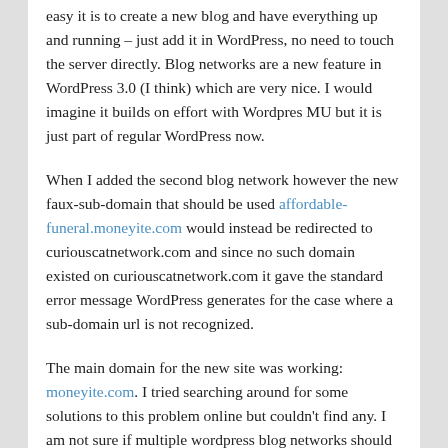easy it is to create a new blog and have everything up and running – just add it in WordPress, no need to touch the server directly. Blog networks are a new feature in WordPress 3.0 (I think) which are very nice. I would imagine it builds on effort with Wordpres MU but it is just part of regular WordPress now.
When I added the second blog network however the new faux-sub-domain that should be used affordable-funeral.moneyite.com would instead be redirected to curiouscatnetwork.com and since no such domain existed on curiouscatnetwork.com it gave the standard error message WordPress generates for the case where a sub-domain url is not recognized.
The main domain for the new site was working: moneyite.com. I tried searching around for some solutions to this problem online but couldn't find any. I am not sure if multiple wordpress blog networks should work on the same server without any special needs. But it wouldn't for me. I found a solution that did work so I will share what worked for me.